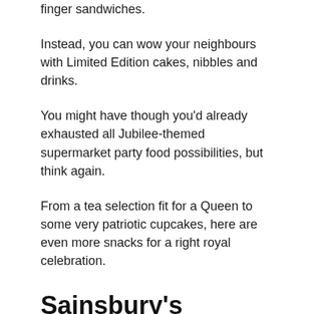finger sandwiches.
Instead, you can wow your neighbours with Limited Edition cakes, nibbles and drinks.
You might have though you'd already exhausted all Jubilee-themed supermarket party food possibilities, but think again.
From a tea selection fit for a Queen to some very patriotic cupcakes, here are even more snacks for a right royal celebration.
Sainsbury's Jubilee Chocolate & Vanilla Cupcakes